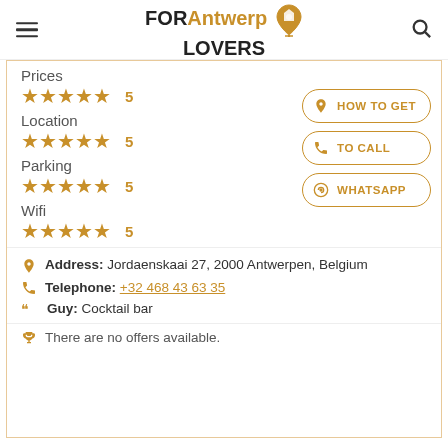FOR Antwerp LOVERS
Prices (truncated)
Location ★★★★★ 5
Parking ★★★★★ 5
Wifi ★★★★★ 5
HOW TO GET
TO CALL
WHATSAPP
Address: Jordaenskaai 27, 2000 Antwerpen, Belgium
Telephone: +32 468 43 63 35
Guy: Cocktail bar
There are no offers available.